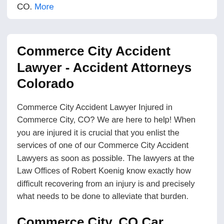CO. More
Commerce City Accident Lawyer - Accident Attorneys Colorado
Commerce City Accident Lawyer Injured in Commerce City, CO? We are here to help! When you are injured it is crucial that you enlist the services of one of our Commerce City Accident Lawyers as soon as possible. The lawyers at the Law Offices of Robert Koenig know exactly how difficult recovering from an injury is and precisely what needs to be done to alleviate that burden. More
Commerce City, CO Car